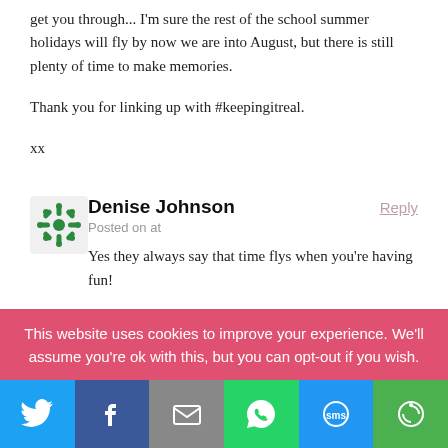get you through... I'm sure the rest of the school summer holidays will fly by now we are into August, but there is still plenty of time to make memories.
Thank you for linking up with #keepingitreal.
xx
Denise Johnson
Posted on at
Yes they always say that time flys when you're having fun!
Denise Johnson
Posted on at
This website uses cookies to improve your experience. We'll assume you're ok with this, but you can opt-out if you wish.